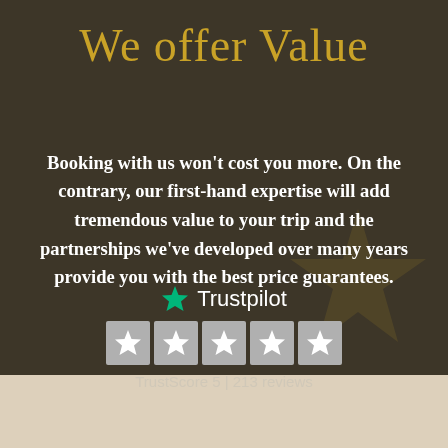We offer Value
Booking with us won't cost you more. On the contrary, our first-hand expertise will add tremendous value to your trip and the partnerships we've developed over many years provide you with the best price guarantees.
[Figure (logo): Trustpilot logo with green star and text 'Trustpilot', five grey star rating boxes, and text 'TrustScore 5 | 213 reviews']